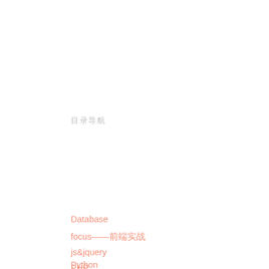目录导航
Database
focus——前端实战
js&jquery
PHP
Python
前端开发工具
前端性能优化实战
运营
职场升职记
其他